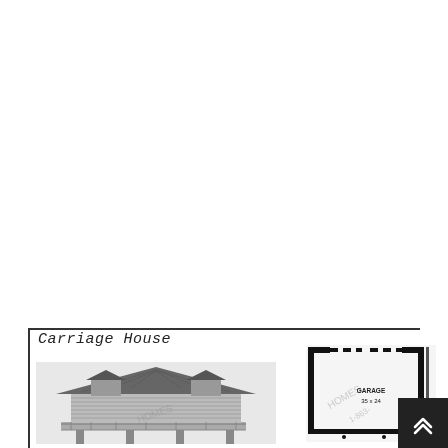Carriage House
[Figure (photo): Black and white photograph of a log carriage house structure with steep roof, dormers, wrap-around deck/porch on stilts, rustic log cabin style construction]
[Figure (schematic): Floor plan schematic of a Garage 35 x 24, shown with thick black walls and dashed lines indicating garage door openings, with watermark text 'HOMES' and partial phone number]